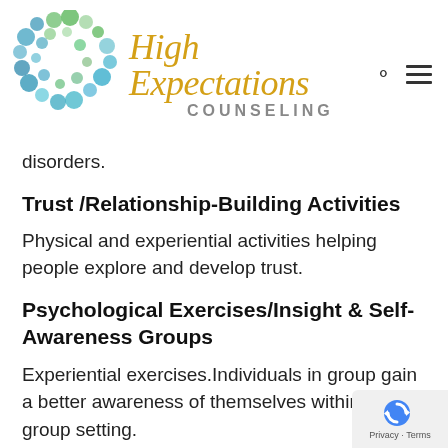[Figure (logo): High Expectations Counseling logo with colorful bubble circles and script/sans-serif text]
disorders.
Trust /Relationship-Building Activities
Physical and experiential activities helping people explore and develop trust.
Psychological Exercises/Insight & Self-Awareness Groups
Experiential exercises.Individuals in group gain a better awareness of themselves within the group setting.
Recreational Therapy Activity